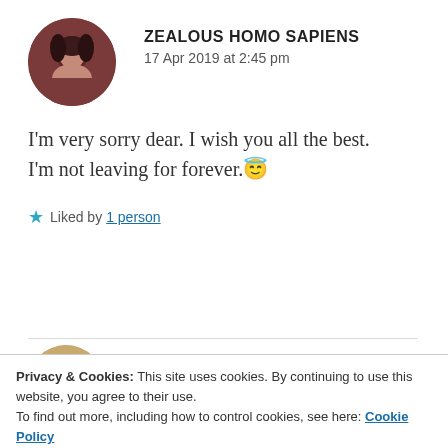[Figure (photo): Circular avatar photo of a person with dark hair against a dark reddish-brown background]
ZEALOUS HOMO SAPIENS
17 Apr 2019 at 2:45 pm
I'm very sorry dear. I wish you all the best. I'm not leaving for forever.😇
★ Liked by 1 person
[Figure (photo): Circular avatar photo of a person with blonde/highlighted hair]
HUGUETTA
Privacy & Cookies: This site uses cookies. By continuing to use this website, you agree to their use.
To find out more, including how to control cookies, see here: Cookie Policy
Close and accept